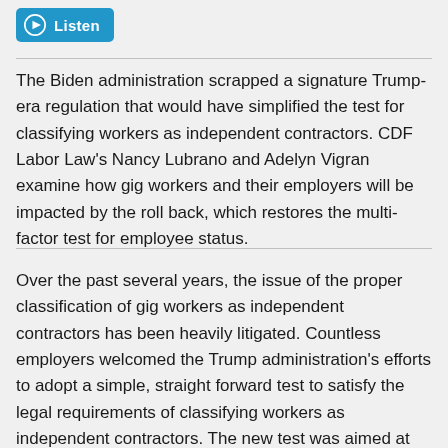[Figure (other): Blue 'Listen' button with a play icon circle on the left and the text 'Listen' in white]
The Biden administration scrapped a signature Trump-era regulation that would have simplified the test for classifying workers as independent contractors. CDF Labor Law's Nancy Lubrano and Adelyn Vigran examine how gig workers and their employers will be impacted by the roll back, which restores the multi-factor test for employee status.
Over the past several years, the issue of the proper classification of gig workers as independent contractors has been heavily litigated. Countless employers welcomed the Trump administration's efforts to adopt a simple, straight forward test to satisfy the legal requirements of classifying workers as independent contractors. The new test was aimed at reducing litigation over misclassification of independent